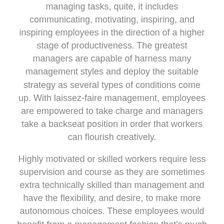managing tasks, quite, it includes communicating, motivating, inspiring, and inspiring employees in the direction of a higher stage of productiveness. The greatest managers are capable of harness many management styles and deploy the suitable strategy as several types of conditions come up. With laissez-faire management, employees are empowered to take charge and managers take a backseat position in order that workers can flourish creatively.
Highly motivated or skilled workers require less supervision and course as they are sometimes extra technically skilled than management and have the flexibility, and desire, to make more autonomous choices. These employees would benefit from a management fashion that's much less controlling or palms-off. Management styles vary by firm, stage of
... Read More